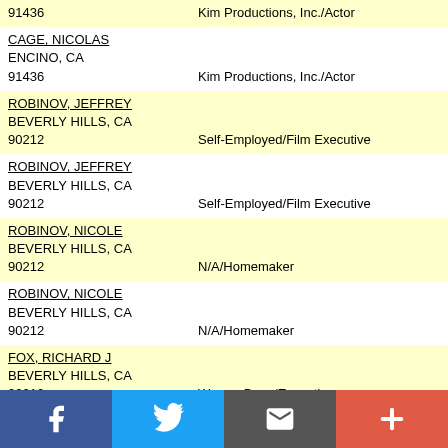91436 | Kim Productions, Inc./Actor
CAGE, NICOLAS
ENCINO, CA
91436 | Kim Productions, Inc./Actor
ROBINOV, JEFFREY
BEVERLY HILLS, CA
90212 | Self-Employed/Film Executive
ROBINOV, JEFFREY
BEVERLY HILLS, CA
90212 | Self-Employed/Film Executive
ROBINOV, NICOLE
BEVERLY HILLS, CA
90212 | N/A/Homemaker
ROBINOV, NICOLE
BEVERLY HILLS, CA
90212 | N/A/Homemaker
FOX, RICHARD J
BEVERLY HILLS, CA
90212 | Warner Bros./Executive
GLOBE, ANNE
PACIFIC PALISADES, CA
90272 | Self-Employed/Entertainment Consultant
GLOBE, ANNE
PACIFIC PALISADES, CA
90272 | Self-Employed/Entertainment Consultant